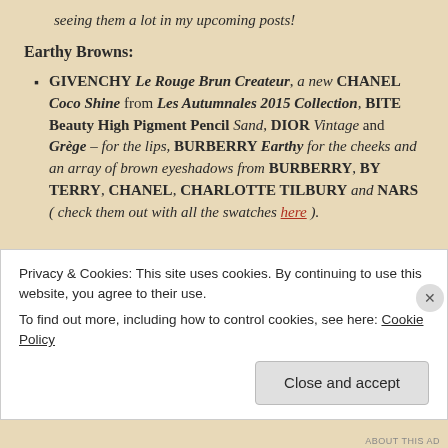seeing them a lot in my upcoming posts!
Earthy Browns:
GIVENCHY Le Rouge Brun Createur, a new CHANEL Coco Shine from Les Autumnales 2015 Collection, BITE Beauty High Pigment Pencil Sand, DIOR Vintage and Grège – for the lips, BURBERRY Earthy for the cheeks and an array of brown eyeshadows from BURBERRY, BY TERRY, CHANEL, CHARLOTTE TILBURY and NARS ( check them out with all the swatches here ).
Privacy & Cookies: This site uses cookies. By continuing to use this website, you agree to their use. To find out more, including how to control cookies, see here: Cookie Policy
Close and accept
ABOUT THIS AD